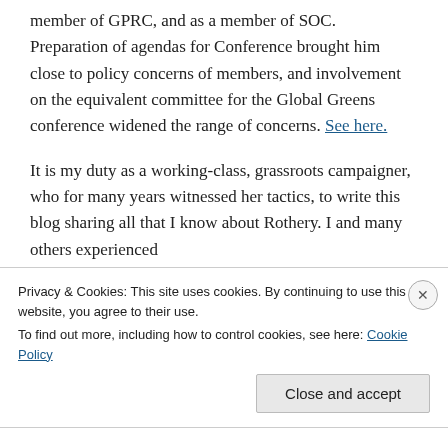member of GPRC, and as a member of SOC. Preparation of agendas for Conference brought him close to policy concerns of members, and involvement on the equivalent committee for the Global Greens conference widened the range of concerns. See here.
It is my duty as a working-class, grassroots campaigner, who for many years witnessed her tactics, to write this blog sharing all that I know about Rothery. I and many others experienced
Privacy & Cookies: This site uses cookies. By continuing to use this website, you agree to their use.
To find out more, including how to control cookies, see here: Cookie Policy